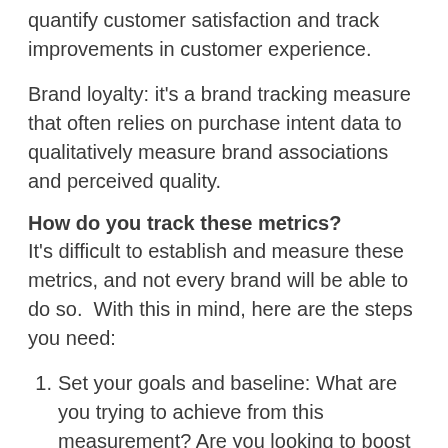quantify customer satisfaction and track improvements in customer experience.
Brand loyalty: it's a brand tracking measure that often relies on purchase intent data to qualitatively measure brand associations and perceived quality.
How do you track these metrics?
It's difficult to establish and measure these metrics, and not every brand will be able to do so.  With this in mind, here are the steps you need:
1. Set your goals and baseline: What are you trying to achieve from this measurement? Are you looking to boost your reach? Are you worried about retention and engagement? Or are you